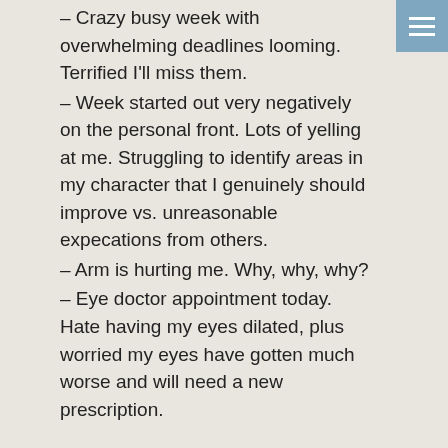– Crazy busy week with overwhelming deadlines looming. Terrified I'll miss them.
– Week started out very negatively on the personal front. Lots of yelling at me. Struggling to identify areas in my character that I genuinely should improve vs. unreasonable expecations from others.
– Arm is hurting me. Why, why, why?
– Eye doctor appointment today. Hate having my eyes dilated, plus worried my eyes have gotten much worse and will need a new prescription.
The good:
– Making lots of progress. More than I would have expected.
– Solved emergency problem for